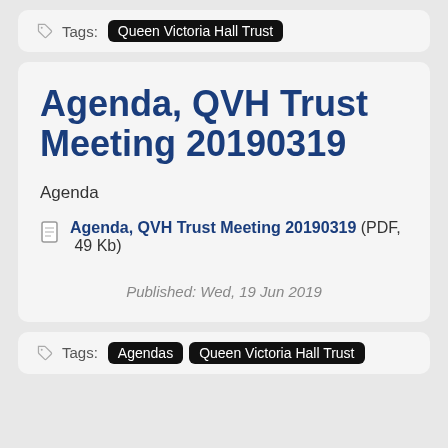Tags: Queen Victoria Hall Trust
Agenda, QVH Trust Meeting 20190319
Agenda
Agenda, QVH Trust Meeting 20190319 (PDF, 49 Kb)
Published: Wed, 19 Jun 2019
Tags: Agendas Queen Victoria Hall Trust